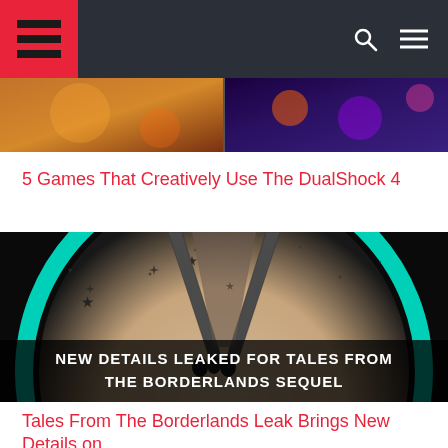Logo navigation bar with search and menu icons
[Figure (screenshot): Top image strip showing colorful game scenes (partial)]
5 Games That Creatively Use The DualShock 4
[Figure (photo): Promotional image for Tales From The Borderlands sequel with text overlay: NEW DETAILS LEAKED FOR TALES FROM THE BORDERLANDS SEQUEL]
Tales From The Borderlands Leak Brings New Details on